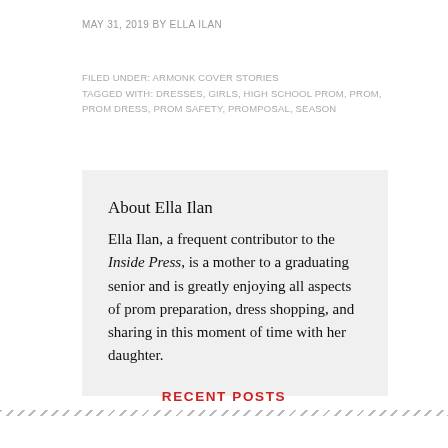MAY 31, 2019 BY ELLA ILAN
FILED UNDER: ARMONK COVER STORIES
TAGGED WITH: DRESSES, GIRLS, HIGH SCHOOL PROM, PROM, PROM DRESS, PROM SAFETY, PROMPOSAL, SEASON
About Ella Ilan
Ella Ilan, a frequent contributor to the Inside Press, is a mother to a graduating senior and is greatly enjoying all aspects of prom preparation, dress shopping, and sharing in this moment of time with her daughter.
RECENT POSTS